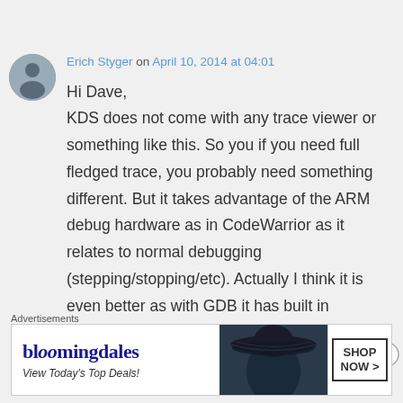Erich Styger on April 10, 2014 at 04:01
Hi Dave,
KDS does not come with any trace viewer or something like this. So you if you need full fledged trace, you probably need something different. But it takes advantage of the ARM debug hardware as in CodeWarrior as it relates to normal debugging (stepping/stopping/etc). Actually I think it is even better as with GDB it has built in command line debugging, plus you
Advertisements
[Figure (illustration): Bloomingdale's advertisement banner: logo text 'bloomingdales', tagline 'View Today's Top Deals!', image of woman with wide brim hat, and 'SHOP NOW >' button]